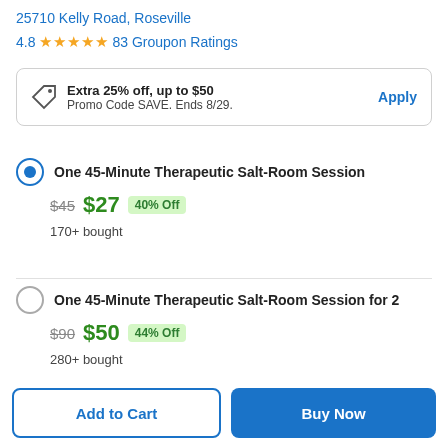25710 Kelly Road, Roseville
4.8 ★★★★★ 83 Groupon Ratings
Extra 25% off, up to $50 — Promo Code SAVE. Ends 8/29. Apply
One 45-Minute Therapeutic Salt-Room Session — $45 $27 40% Off — 170+ bought
One 45-Minute Therapeutic Salt-Room Session for 2 — $90 $50 44% Off — 280+ bought
Add to Cart | Buy Now